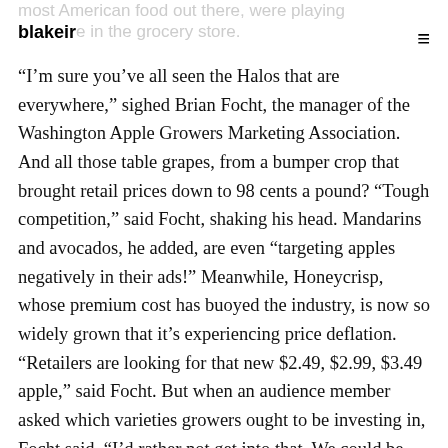blakeir
“I’m sure you’ve all seen the Halos that are everywhere,” sighed Brian Focht, the manager of the Washington Apple Growers Marketing Association. And all those table grapes, from a bumper crop that brought retail prices down to 98 cents a pound? “Tough competition,” said Focht, shaking his head. Mandarins and avocados, he added, are even “targeting apples negatively in their ads!” Meanwhile, Honeycrisp, whose premium cost has buoyed the industry, is now so widely grown that it’s experiencing price deflation. “Retailers are looking for that new $2.49, $2.99, $3.49 apple,” said Focht. But when an audience member asked which varieties growers ought to be investing in, Focht said, “I’d rather not get into that. We could be here for hours.”
The next speaker was Hailey Peyron, of Nielsen, the